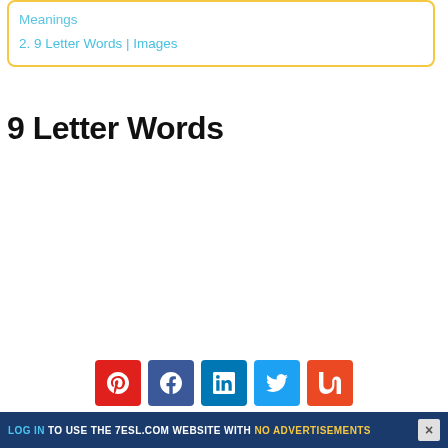Meanings
2. 9 Letter Words | Images
9 Letter Words
[Figure (other): Social share buttons: Pinterest (red), Facebook (dark blue), LinkedIn (blue), Twitter (light blue), Mix (orange-red)]
LOG IN TO USE THE 7ESL.COM WEBSITE WITH NO ADVERTISEMENTS  ×